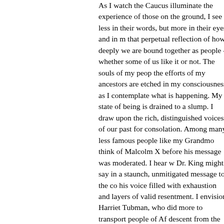As I watch the Caucus illuminate the experience of those on the ground, I see less in their words, but more in their eyes and in my that perpetual reflection of how deeply we are bound together as people - whether some of us like it or not. The souls of my people the efforts of my ancestors are etched in my consciousness as I contemplate what is happening. My state of being is drained to a slump. I draw upon the rich, distinguished voices of our past for consolation. Among many less famous people like my Grandmo think of Malcolm X before his message was moderated. I hear w Dr. King might say in a staunch, unmitigated message to the co his voice filled with exhaustion and layers of valid resentment. I envision Harriet Tubman, who did more to transport people of Af descent from the South on foot than a technologically and economically advanced government was able to do with cruise planes, trains, a national fleet of busses, governmental trucks, v and cars at its disposal. I think of DuBois. I turn to his masterpie The Souls of Black Folk, published in 1903.
In it, Dr. W.E.B. Dubois' soul speaks to us, describing the "legal tenant farming system in the south as only slightly removed from slavery" - and referring to a "national neglect." Almost as if refer the so-called "religious" right, he refers directly to a "sanctifier of most hateful frauds," and the misuse of Christianity "under which darkest, foulest, grossest, and most infernal deeds.had found protection."
As if speaking to a federal hierarchy void of conscious Black pub servants, DuBois offers an all too gentle hope that Black folk wo serve as "co-workers in the kingdom of culture," that we might u "best powers," and, "latent genius." His spirit seems to know tha